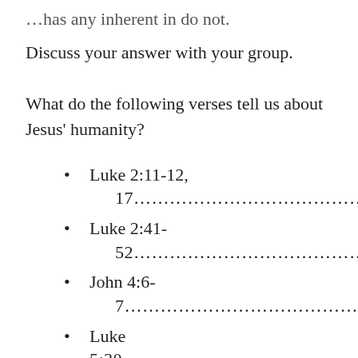…has any inherent in do not.
Discuss your answer with your group.
What do the following verses tell us about Jesus' humanity?
Luke 2:11-12, 17……………………………………………
Luke 2:41-52……………………………………………
John 4:6-7……………………………………………
Luke 5:30…